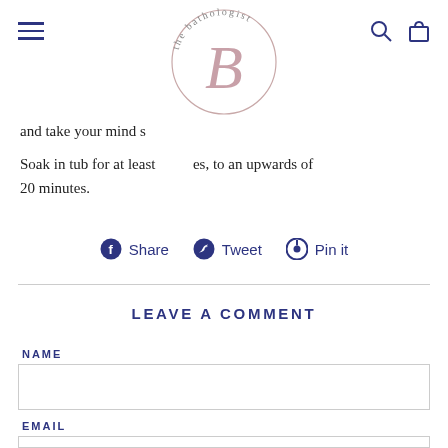the bathologist — navigation header with logo, hamburger menu, search and cart icons
and take your mind s
Soak in tub for at least es, to an upwards of 20 minutes.
Share  Tweet  Pin it
LEAVE A COMMENT
NAME
EMAIL